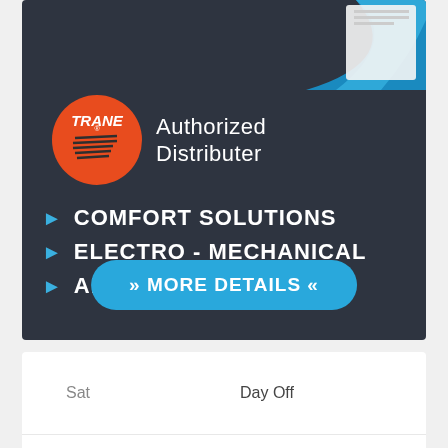[Figure (infographic): Trane Authorized Distributer advertisement banner with dark background showing Trane logo, bullet points for Comfort Solutions, Electro-Mechanical, Air Conditioning, and a More Details button]
COMFORT SOLUTIONS
ELECTRO - MECHANICAL
AIR CONDITIONING
| Day | Hours |
| --- | --- |
| Sat | Day Off |
| Sun | 8:00 am - 5:00 pm |